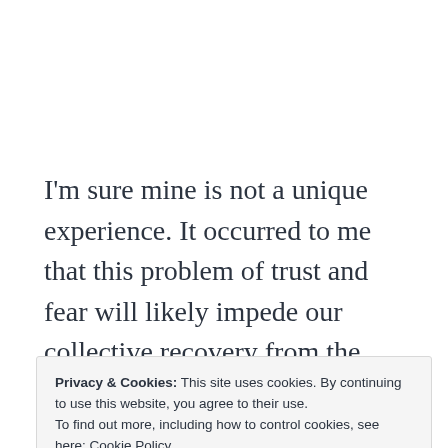I'm sure mine is not a unique experience. It occurred to me that this problem of trust and fear will likely impede our collective recovery from the virus both in terms of our health but also economically. In reality, people who have been infected and
Privacy & Cookies: This site uses cookies. By continuing to use this website, you agree to their use. To find out more, including how to control cookies, see here: Cookie Policy
Close and accept
way to alleviate the fear of the general public.